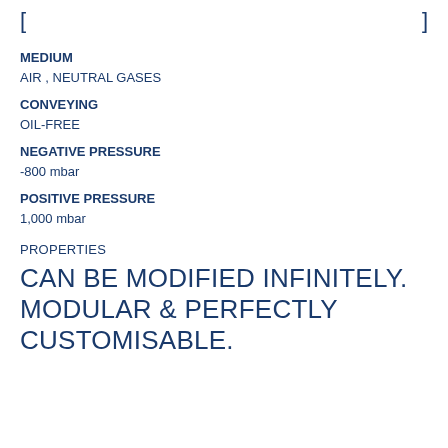[ ]
MEDIUM
AIR , NEUTRAL GASES
CONVEYING
OIL-FREE
NEGATIVE PRESSURE
-800 mbar
POSITIVE PRESSURE
1,000 mbar
PROPERTIES
CAN BE MODIFIED INFINITELY. MODULAR & PERFECTLY CUSTOMISABLE.